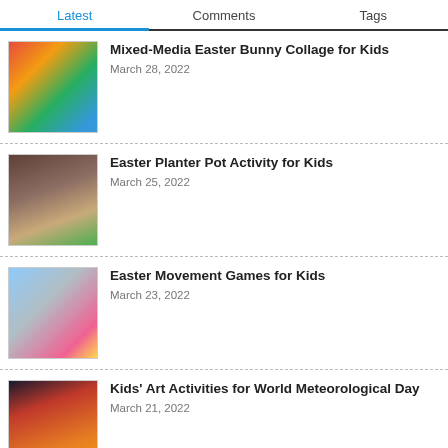Latest | Comments | Tags
[Figure (photo): Child doing craft activity with colorful paper]
Mixed-Media Easter Bunny Collage for Kids
March 28, 2022
[Figure (photo): Terracotta planter pot with soil and plant]
Easter Planter Pot Activity for Kids
March 25, 2022
[Figure (photo): Young girl with Easter bunny ears, looking surprised]
Easter Movement Games for Kids
March 23, 2022
[Figure (photo): Dramatic stormy sky with orange and dark clouds]
Kids' Art Activities for World Meteorological Day
March 21, 2022